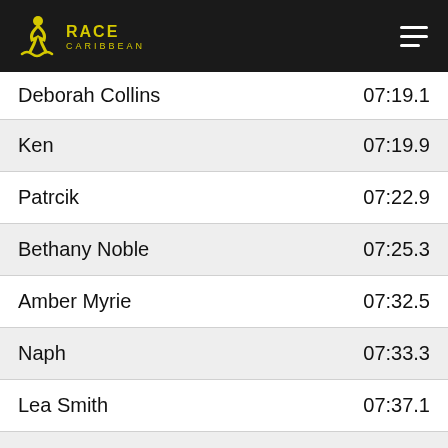Race Caribbean
| Name | Time |
| --- | --- |
| Deborah Collins | 07:19.1 |
| Ken | 07:19.9 |
| Patrcik | 07:22.9 |
| Bethany Noble | 07:25.3 |
| Amber Myrie | 07:32.5 |
| Naph | 07:33.3 |
| Lea Smith | 07:37.1 |
| Kel Thompson | 07:42.5 |
| Corey Christian | 07:45.4 |